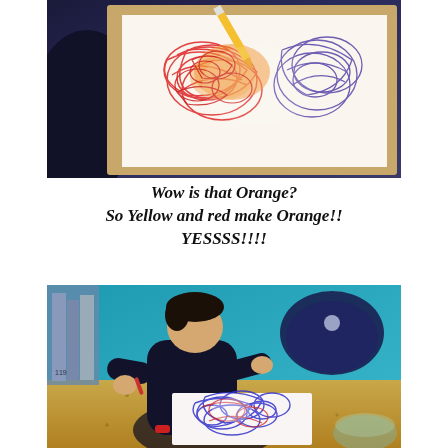[Figure (photo): Close-up photo of red and blue crayon scribbles on paper with an orange pencil visible at top, on a light box or white surface, with a dark chair partially visible on the left]
Wow is that Orange?
So Yellow and red make Orange!!
YESSSS!!!!
[Figure (photo): A young boy in a black long-sleeve shirt drawing with crayons on paper at a wooden table. Blue wall background with a dark rounded backpack or chair. The drawing shows blue and red circular scribble artwork.]